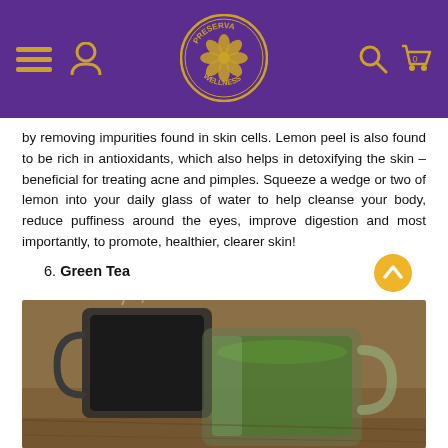Preserva Wellness – navigation header
by removing impurities found in skin cells. Lemon peel is also found to be rich in antioxidants, which also helps in detoxifying the skin –beneficial for treating acne and pimples. Squeeze a wedge or two of lemon into your daily glass of water to help cleanse your body, reduce puffiness around the eyes, improve digestion and most importantly, to promote, healthier, clearer skin!
6. Green Tea
[Figure (photo): Two glass mugs of green tea on a wooden surface, one filled with darker liquid and one with lighter green liquid]